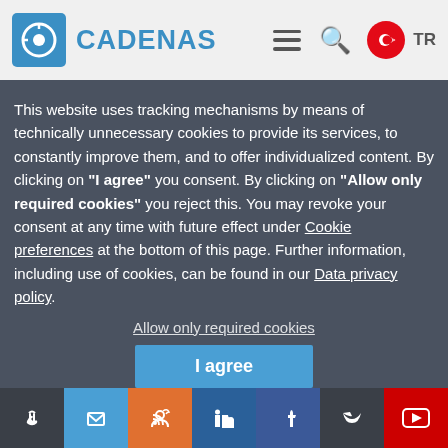CADENAS
This website uses tracking mechanisms by means of technically unnecessary cookies to provide its services, to constantly improve them, and to offer individualized content. By clicking on "I agree" you consent. By clicking on "Allow only required cookies" you reject this. You may revoke your consent at any time with future effect under Cookie preferences at the bottom of this page. Further information, including use of cookies, can be found in our Data privacy policy.
Allow only required cookies
I agree
Yasal Bilgi   Data privacy policy